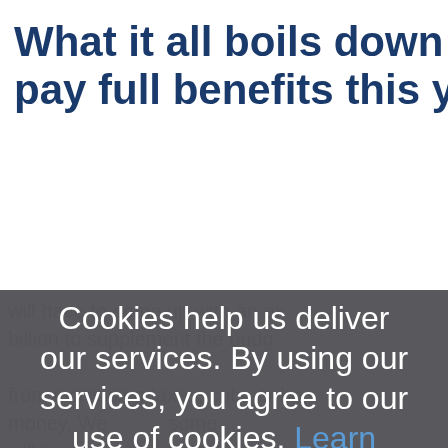What it all boils down to is that, i pay full benefits this year, Social
Cookies help us deliver our services. By using our services, you agree to our use of cookies. Learn more
[Figure (screenshot): OK button — a blue rectangular button with white bold text 'OK']